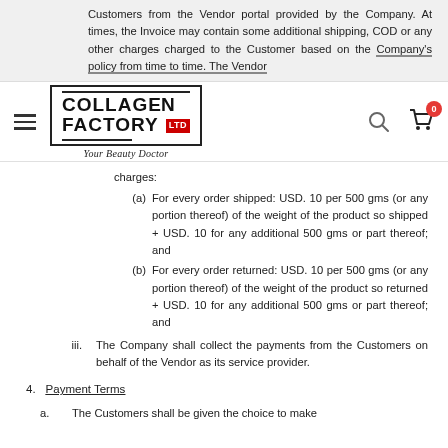Customers from the Vendor portal provided by the Company. At times, the Invoice may contain some additional shipping, COD or any other charges charged to the Customer based on the Company's policy from time to time. The Vendor
[Figure (logo): Collagen Factory Ltd logo with tagline 'Your Beauty Doctor', hamburger menu, search icon, cart icon with badge showing 0]
charges:
(a) For every order shipped: USD. 10 per 500 gms (or any portion thereof) of the weight of the product so shipped + USD. 10 for any additional 500 gms or part thereof; and
(b) For every order returned: USD. 10 per 500 gms (or any portion thereof) of the weight of the product so returned + USD. 10 for any additional 500 gms or part thereof; and
iii. The Company shall collect the payments from the Customers on behalf of the Vendor as its service provider.
4. Payment Terms
a. The Customers shall be given the choice to make